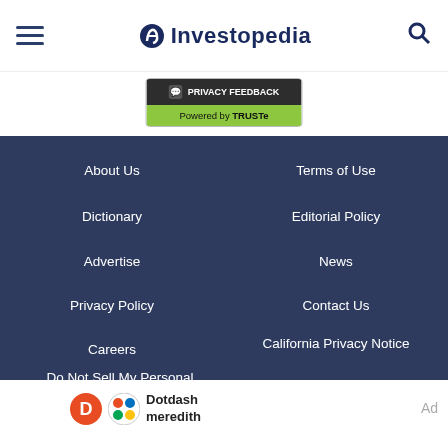Investopedia
[Figure (other): Privacy Feedback badge powered by TRUSTe]
About Us
Terms of Use
Dictionary
Editorial Policy
Advertise
News
Privacy Policy
Contact Us
Careers
California Privacy Notice
Do Not Sell My Personal Information
[Figure (logo): Dotdash Meredith logo]
Ad